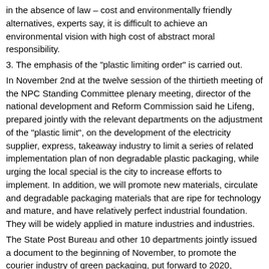in the absence of law – cost and environmentally friendly alternatives, experts say, it is difficult to achieve an environmental vision with high cost of abstract moral responsibility.
3. The emphasis of the "plastic limiting order" is carried out.
In November 2nd at the twelve session of the thirtieth meeting of the NPC Standing Committee plenary meeting, director of the national development and Reform Commission said he Lifeng, prepared jointly with the relevant departments on the adjustment of the "plastic limit", on the development of the electricity supplier, express, takeaway industry to limit a series of related implementation plan of non degradable plastic packaging, while urging the local special is the city to increase efforts to implement. In addition, we will promote new materials, circulate and degradable packaging materials that are ripe for technology and mature, and have relatively perfect industrial foundation. They will be widely applied in mature industries and industries.
The State Post Bureau and other 10 departments jointly issued a document to the beginning of November, to promote the courier industry of green packaging, put forward to 2020, improve the application proportion of green packaging materials degradable to 50%. This means that the "plastic limiting order" will usher in a new period of additional implementation.
However, to truly implement the overweight, the relevant departments need to introduce rules, clear all aspects of regulators, producers, sellers and consumers of the responsibility and obligation to change the "plastic limit" law, law enforcement is lax. "The rules without the rules are like the toothless tigers, which look great, but they do not work well." Huang Liling, a lawyer in Beijing Mian Mian law firm, said.